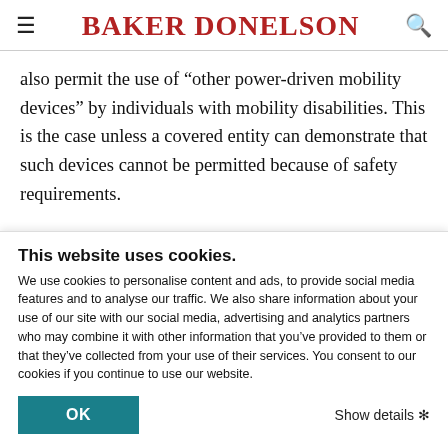BAKER DONELSON
also permit the use of “other power-driven mobility devices” by individuals with mobility disabilities. This is the case unless a covered entity can demonstrate that such devices cannot be permitted because of safety requirements.

Finally, on July 26, 2010, the DOJ issued four new Advance Notices of Proposed Rulemakings to establish
This website uses cookies.
We use cookies to personalise content and ads, to provide social media features and to analyse our traffic. We also share information about your use of our site with our social media, advertising and analytics partners who may combine it with other information that you’ve provided to them or that they’ve collected from your use of their services. You consent to our cookies if you continue to use our website.
OK
Show details